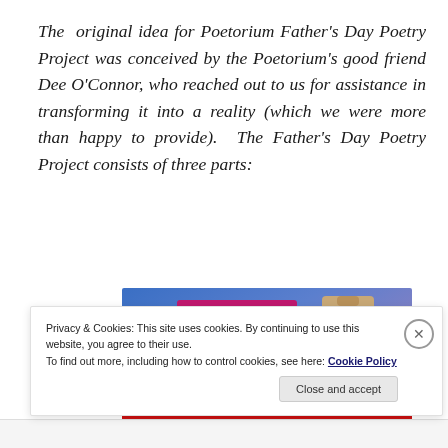The original idea for Poetorium Father's Day Poetry Project was conceived by the Poetorium's good friend Dee O'Connor, who reached out to us for assistance in transforming it into a reality (which we were more than happy to provide). The Father's Day Poetry Project consists of three parts:
[Figure (screenshot): A screenshot of a website builder interface showing a gradient blue-to-purple background with a 'Build Your Website' pink button and a tan/beige luggage tag icon on the right side.]
Privacy & Cookies: This site uses cookies. By continuing to use this website, you agree to their use. To find out more, including how to control cookies, see here: Cookie Policy
Close and accept